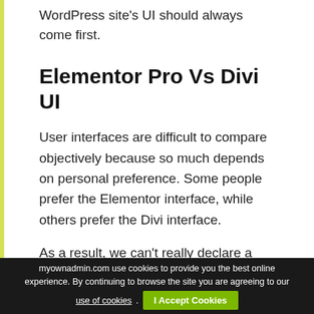WordPress site's UI should always come first.
Elementor Pro Vs Divi UI
User interfaces are difficult to compare objectively because so much depends on personal preference. Some people prefer the Elementor interface, while others prefer the Divi interface.
As a result, we can't really declare a single winner. Instead, we'll show you how each tool's interface works, and you can choose the
myownadmin.com use cookies to provide you the best online experience. By continuing to browse the site you are agreeing to our use of cookies. I Accept Cookies